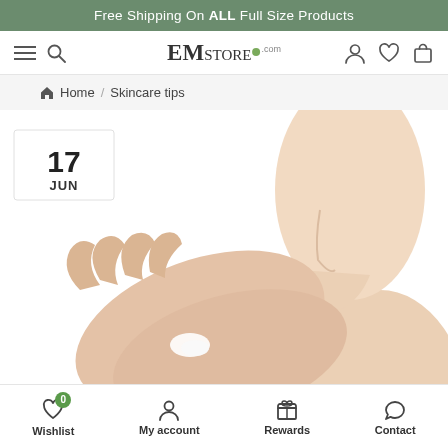Free Shipping On ALL Full Size Products
[Figure (screenshot): EMstore.com website navigation bar with hamburger menu, search icon, EMstore logo, user icon, heart/wishlist icon, and shopping bag icon]
Home / Skincare tips
[Figure (photo): Woman applying skincare cream to her palm, side profile, with a date badge showing 17 JUN in the upper left corner]
Wishlist (0) | My account | Rewards | Contact